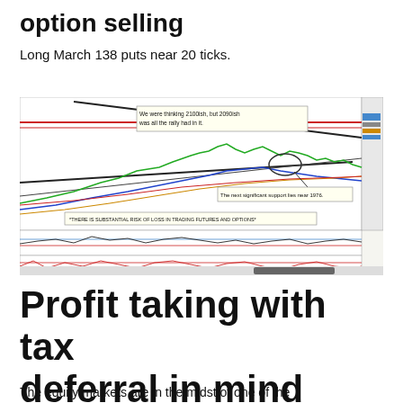option selling
Long March 138 puts near 20 ticks.
[Figure (continuous-plot): Financial chart showing price action with channel lines, moving averages in multiple colors, annotations: 'We were thinking 2100ish, but 2090ish was all the rally had in it.' and 'The next significant support lies near 1976.' and '*THERE IS SUBSTANTIAL RISK OF LOSS IN TRADING FUTURES AND OPTIONS*'. Lower panels show oscillators/indicators.]
Profit taking with tax deferral in mind
The equity markets are in the midst of one of the